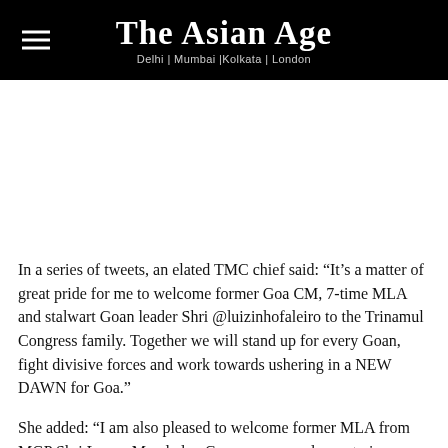The Asian Age — Delhi | Mumbai |Kolkata | London
In a series of tweets, an elated TMC chief said: “It’s a matter of great pride for me to welcome former Goa CM, 7-time MLA and stalwart Goan leader Shri @luizinhofaleiro to the Trinamul Congress family. Together we will stand up for every Goan, fight divisive forces and work towards ushering in a NEW DAWN for Goa.”
She added: “I am also pleased to welcome former MLA from MGP Shri Lavoo Mamledar, Congress general secretaries Yatish Naik & Vijay Poi and Congress